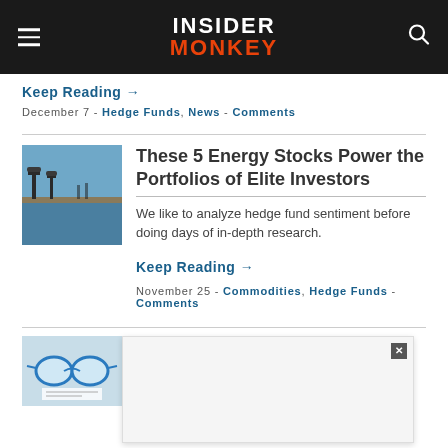INSIDER MONKEY
Keep Reading →
December 7 - Hedge Funds, News - Comments
These 5 Energy Stocks Power the Portfolios of Elite Investors
We like to analyze hedge fund sentiment before doing days of in-depth research.
Keep Reading →
November 25 - Commodities, Hedge Funds - Comments
Its Top 5 Stock Picks On